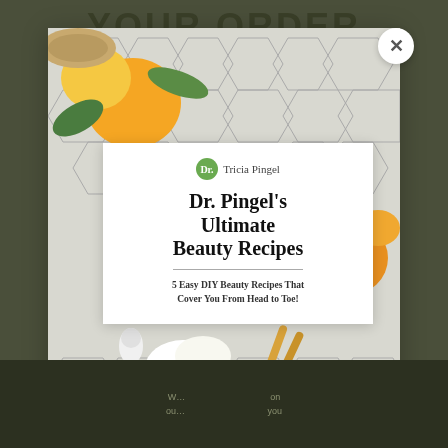YOUR ORDER
[Figure (screenshot): Modal popup showing book cover for 'Dr. Pingel's Ultimate Beauty Recipes' with photo of natural beauty ingredients (citrus, honey dipper, cucumbers) on hexagon tile background. Close button (X) in top right corner of modal.]
W... ou... on ... you
GET THIS!